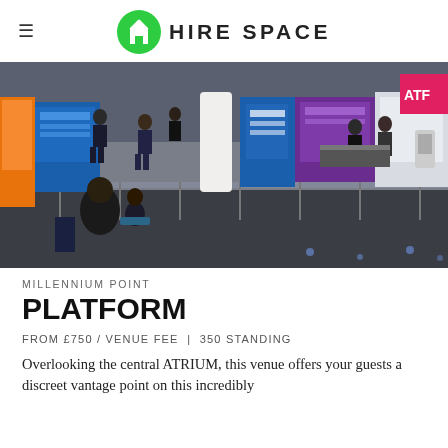HIRE SPACE
[Figure (photo): Aerial/overhead view of a busy exhibition or trade show floor inside Millennium Point venue, showing exhibition stands with blue and purple branding, visitors walking around, a white column, glass railings, and colourful display booths.]
MILLENNIUM POINT
PLATFORM
FROM £750 / VENUE FEE | 350 STANDING
Overlooking the central ATRIUM, this venue offers your guests a discreet vantage point on this incredibly